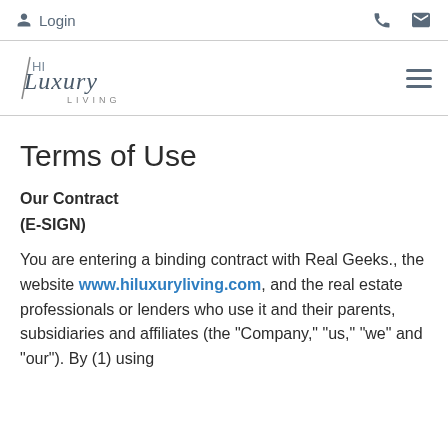Login | [phone icon] [email icon]
[Figure (logo): HI Luxury Living logo with script text and hamburger menu icon]
Terms of Use
Our Contract
(E-SIGN)
You are entering a binding contract with Real Geeks., the website www.hiluxuryliving.com, and the real estate professionals or lenders who use it and their parents, subsidiaries and affiliates (the "Company," "us," "we" and "our"). By (1) using